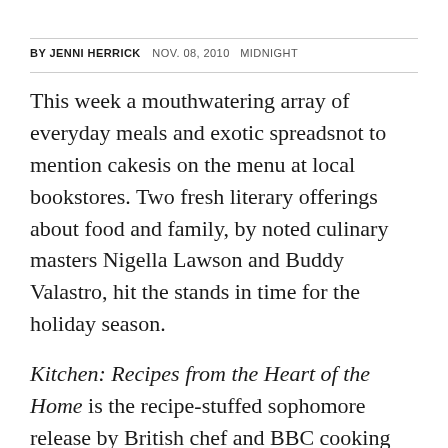BY JENNI HERRICK   NOV. 08, 2010   MIDNIGHT
This week a mouthwatering array of everyday meals and exotic spreadsnot to mention cakesis on the menu at local bookstores. Two fresh literary offerings about food and family, by noted culinary masters Nigella Lawson and Buddy Valastro, hit the stands in time for the holiday season.
Kitchen: Recipes from the Heart of the Home is the recipe-stuffed sophomore release by British chef and BBC cooking sensation Nigella Lawson. Lawson captures rich recipes from around the world in this engaging, informative volume. In